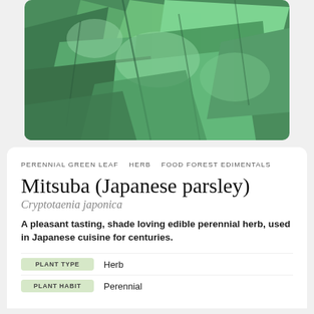[Figure (photo): Close-up photo of green plant leaves (Mitsuba / Japanese parsley), showing multiple large, lobed green leaves filling the frame.]
PERENNIAL GREEN LEAF   HERB   FOOD FOREST EDIMENTALS
Mitsuba (Japanese parsley)
Cryptotaenia japonica
A pleasant tasting, shade loving edible perennial herb, used in Japanese cuisine for centuries.
| Attribute | Value |
| --- | --- |
| PLANT TYPE | Herb |
| PLANT HABIT | Perennial |